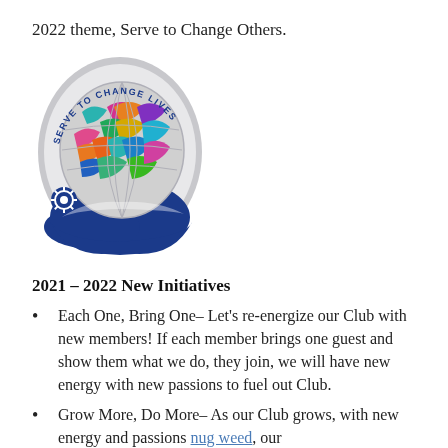2022 theme, Serve to Change Others.
[Figure (logo): Rotary International 'Serve to Change Lives' logo — colorful globe on blue hand with Rotary wheel emblem and text arc]
2021 – 2022 New Initiatives
Each One, Bring One– Let's re-energize our Club with new members! If each member brings one guest and show them what we do, they join, we will have new energy with new passions to fuel out Club.
Grow More, Do More– As our Club grows, with new energy and passions nug weed, our